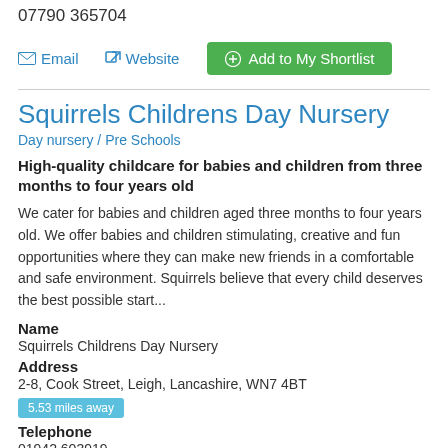07790 365704
Email   Website   Add to My Shortlist
Squirrels Childrens Day Nursery
Day nursery / Pre Schools
High-quality childcare for babies and children from three months to four years old
We cater for babies and children aged three months to four years old. We offer babies and children stimulating, creative and fun opportunities where they can make new friends in a comfortable and safe environment. Squirrels believe that every child deserves the best possible start...
Name
Squirrels Childrens Day Nursery
Address
2-8, Cook Street, Leigh, Lancashire, WN7 4BT
5.53 miles away
Telephone
01942 603919